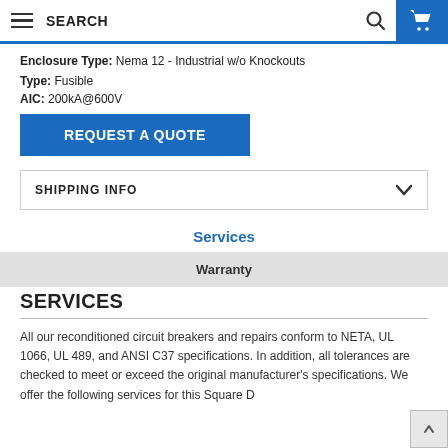SEARCH
Enclosure Type: Nema 12 - Industrial w/o Knockouts
Type: Fusible
AIC: 200kA@600V
REQUEST A QUOTE
SHIPPING INFO
Services
Warranty
SERVICES
All our reconditioned circuit breakers and repairs conform to NETA, UL 1066, UL 489, and ANSI C37 specifications. In addition, all tolerances are checked to meet or exceed the original manufacturer's specifications. We offer the following services for this Square D